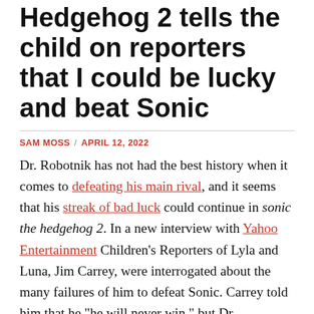Hedgehog 2 tells the child on reporters that I could be lucky and beat Sonic
SAM MOSS / APRIL 12, 2022
Dr. Robotnik has not had the best history when it comes to defeating his main rival, and it seems that his streak of bad luck could continue in sonic the hedgehog 2. In a new interview with Yahoo Entertainment Children's Reporters of Lyla and Luna, Jim Carrey, were interrogated about the many failures of him to defeat Sonic. Carrey told him that he “he will never win,” but Dr. Robotnik’s actor refused to admit defeat, affirming that there is still the possibility that he in some way he